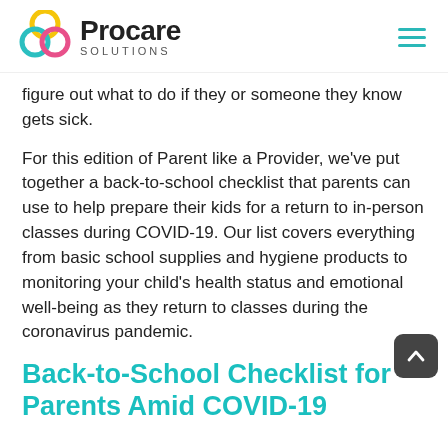[Figure (logo): Procare Solutions logo with colorful interlocking circles icon and company name]
figure out what to do if they or someone they know gets sick.
For this edition of Parent like a Provider, we've put together a back-to-school checklist that parents can use to help prepare their kids for a return to in-person classes during COVID-19. Our list covers everything from basic school supplies and hygiene products to monitoring your child's health status and emotional well-being as they return to classes during the coronavirus pandemic.
Back-to-School Checklist for Parents Amid COVID-19